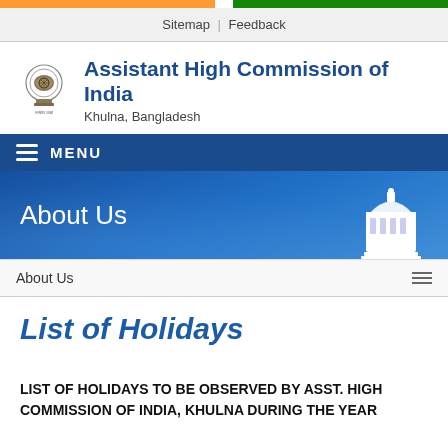Sitemap | Feedback
Assistant High Commission of India
Khulna, Bangladesh
MENU
About Us
About Us
List of Holidays
LIST OF HOLIDAYS TO BE OBSERVED BY ASST. HIGH COMMISSION OF INDIA, KHULNA DURING THE YEAR